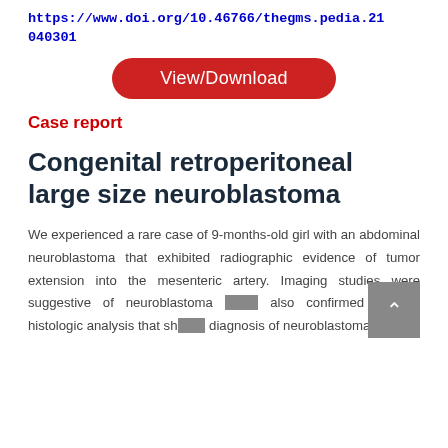https://www.doi.org/10.46766/thegms.pedia.21040301
[Figure (other): Red rounded rectangle button with white text 'View/Download']
Case report
Congenital retroperitoneal large size neuroblastoma
We experienced a rare case of 9-months-old girl with an abdominal neuroblastoma that exhibited radiographic evidence of tumor extension into the mesenteric artery. Imaging studies were suggestive of neuroblastoma which also confirmed by the histologic analysis that show a diagnosis of neuroblastoma too.